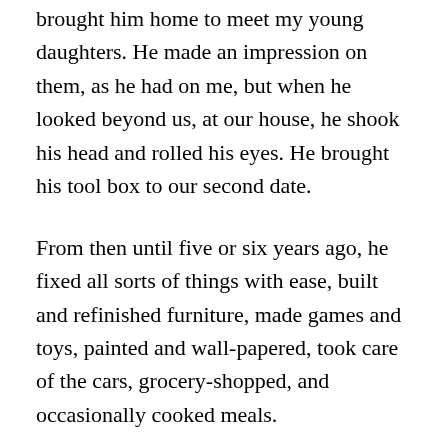brought him home to meet my young daughters. He made an impression on them, as he had on me, but when he looked beyond us, at our house, he shook his head and rolled his eyes. He brought his tool box to our second date.
From then until five or six years ago, he fixed all sorts of things with ease, built and refinished furniture, made games and toys, painted and wall-papered, took care of the cars, grocery-shopped, and occasionally cooked meals.
He can no longer do any of those things, nor does he notice they need doing. For a while he was mad at